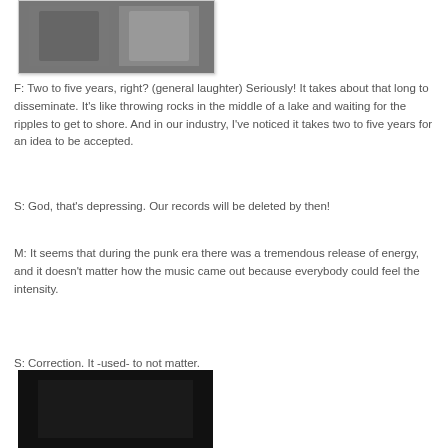[Figure (photo): Black and white photograph of people, partially visible at top of page]
F: Two to five years, right? (general laughter) Seriously! It takes about that long to disseminate. It's like throwing rocks in the middle of a lake and waiting for the ripples to get to shore. And in our industry, I've noticed it takes two to five years for an idea to be accepted.
S: God, that's depressing. Our records will be deleted by then!
M: It seems that during the punk era there was a tremendous release of energy, and it doesn't matter how the music came out because everybody could feel the intensity.
S: Correction. It -used- to not matter.
[Figure (photo): Dark/black photograph partially visible at bottom of page]